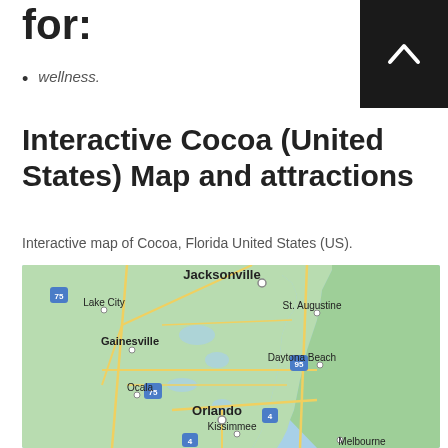for:
wellness.
Interactive Cocoa (United States) Map and attractions
Interactive map of Cocoa, Florida United States (US).
[Figure (map): Interactive map showing northeastern and central Florida, including cities such as Jacksonville, Lake City, St. Augustine, Gainesville, Daytona Beach, Ocala, Orlando, Kissimmee, and Melbourne. Major highways including I-75, I-95, and I-4 are shown. The Atlantic Ocean is visible to the east. Green land areas and blue water bodies are depicted.]